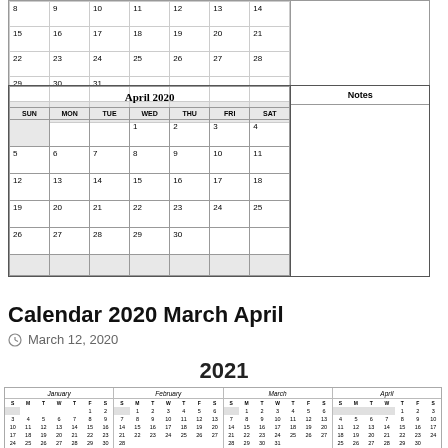[Figure (other): March 2020 calendar fragment showing rows with dates 15-21, 22-28, 29-31]
[Figure (other): April 2020 full calendar with Notes box beside it]
Calendar 2020 March April
March 12, 2020
[Figure (other): 2021 full year mini calendar showing January through August with month grids]